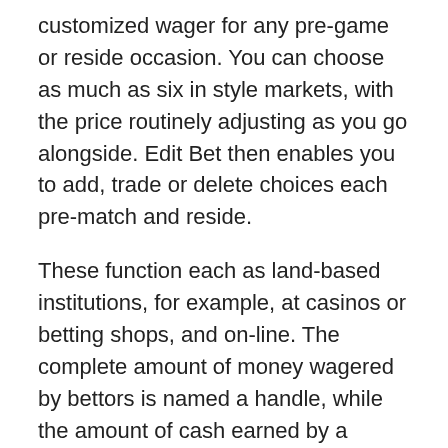customized wager for any pre-game or reside occasion. You can choose as much as six in style markets, with the price routinely adjusting as you go alongside. Edit Bet then enables you to add, trade or delete choices each pre-match and reside.
These function each as land-based institutions, for example, at casinos or betting shops, and on-line. The complete amount of money wagered by bettors is named a handle, while the amount of cash earned by a sportsbook after paying out the winners is income. You'll also discover a full listing of all PA retail and on-line sportsbooks.
This provide only obtainable to users who deposit by way of credit or debit playing cards. While accumulator odds calculators are available online, yow will discover this info yourself with a easy arithmetic exercise. If you want to calculate your accumulator odds first you'll often need to input your